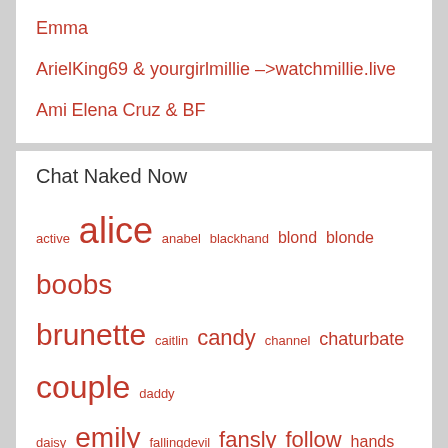Emma
ArielKing69 & yourgirlmillie –>watchmillie.live
Ami
Elena Cruz & BF
Chat Naked Now
active alice anabel blackhand blond blonde boobs brunette caitlin candy channel chaturbate couple daddy daisy emily fallingdevil fansly follow hands haylee holly https instagram isabela jeangreybianca jennycutey julia kitty lola2 lovense masha megan melissa molly nicole onlyfans